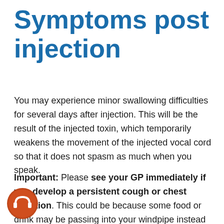Symptoms post injection
You may experience minor swallowing difficulties for several days after injection. This will be the result of the injected toxin, which temporarily weakens the movement of the injected vocal cord so that it does not spasm as much when you speak.
Important: Please see your GP immediately if you develop a persistent cough or chest infection. This could be because some food or drink may be passing into your windpipe instead of your food gullet as you swallow. Your GP could prescribe a fluid thickening agent to help with this if required.
[Figure (illustration): Orange circular icon with a white headphone/audio symbol, used as a listen/audio accessibility indicator.]